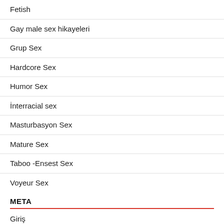Fetish
Gay male sex hikayeleri
Grup Sex
Hardcore Sex
Humor Sex
İnterracial sex
Masturbasyon Sex
Mature Sex
Taboo -Ensest Sex
Voyeur Sex
META
Giriş
Yazı beslemesi